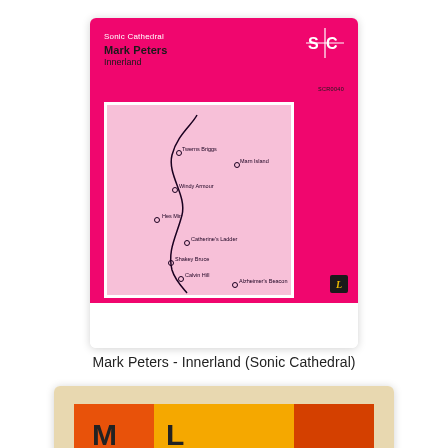[Figure (illustration): Album cover for Mark Peters - Innerland on Sonic Cathedral. Hot pink background with a white-bordered inner panel showing a stylized map/route with location dots and labels: Twerns Briggs, Marn Island, Windy Armour, Hes Mir, Catherine's Ladder, Shakey Bruce, Calvin Hill, Alzheimer's Beacon. SC logo top right, catalog SCR0040, small Lunchbox badge bottom right.]
Mark Peters - Innerland (Sonic Cathedral)
[Figure (illustration): Partial view of a second album artwork with warm beige/cream background and geometric orange, yellow, and deep orange rectangular shapes at the bottom forming bold block letters ML.]